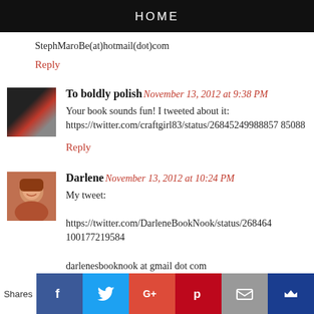HOME
StephMaroBe(at)hotmail(dot)com
Reply
To boldly polish November 13, 2012 at 9:38 PM
Your book sounds fun! I tweeted about it: https://twitter.com/craftgirl83/status/26845249988857 85088
Reply
Darlene November 13, 2012 at 10:24 PM
My tweet:

https://twitter.com/DarleneBookNook/status/268464 100177219584

darlenesbooknook at gmail dot com
Shares [Facebook] [Twitter] [Google+] [Pinterest] [Email] [Crown]